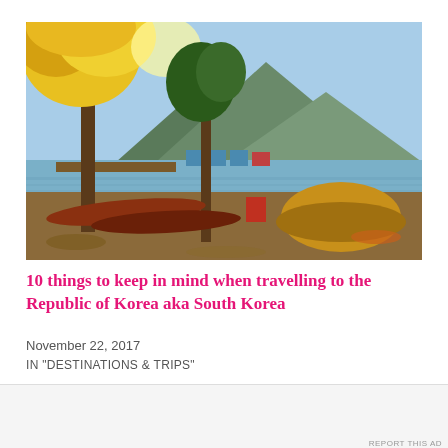[Figure (photo): Autumn lakeside scene in South Korea with yellow foliage trees, canoes on the shore, a camping tent, red folding chair, and mountains with blue sky in background]
10 things to keep in mind when travelling to the Republic of Korea aka South Korea
November 22, 2017
IN "DESTINATIONS & TRIPS"
Advertisements
AUTOMATTIC
Build a better web and a better world.